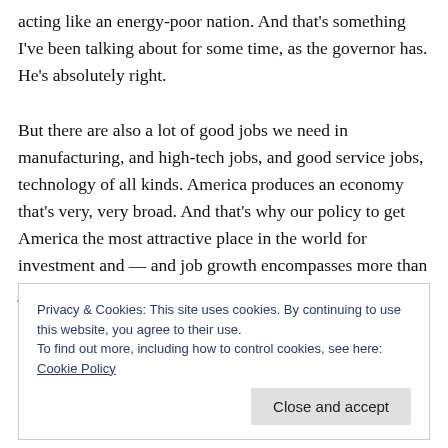acting like an energy-poor nation. And that's something I've been talking about for some time, as the governor has. He's absolutely right.

But there are also a lot of good jobs we need in manufacturing, and high-tech jobs, and good service jobs, technology of all kinds. America produces an economy that's very, very broad. And that's why our policy to get America the most attractive place in the world for investment and — and job growth encompasses more than just energy. It includes that, but also tax policy,
Privacy & Cookies: This site uses cookies. By continuing to use this website, you agree to their use.
To find out more, including how to control cookies, see here: Cookie Policy